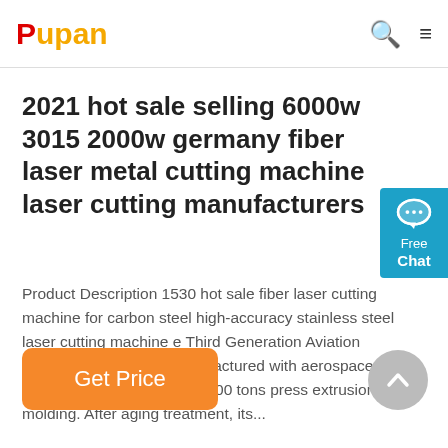Pupan
2021 hot sale selling 6000w 3015 2000w germany fiber laser metal cutting machine laser cutting manufacturers
Product Description 1530 hot sale fiber laser cutting machine for carbon steel high-accuracy stainless steel laser cutting machine e Third Generation Aviation Aluminum GantryIt is manufactured with aerospace standards and formed by 4300 tons press extrusion molding. After aging treatment, its...
Get Price